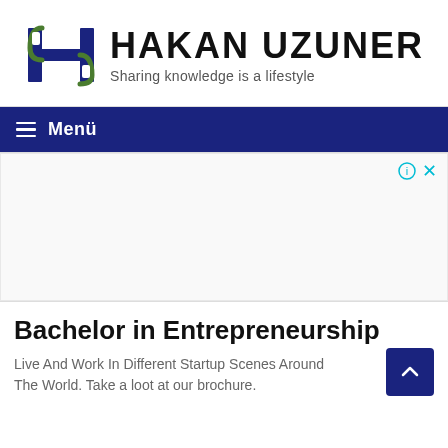[Figure (logo): Hakan Uzuner logo with stylized H letter in navy blue and green, with text HAKAN UZUNER and tagline Sharing knowledge is a lifestyle]
≡ Menü
[Figure (screenshot): Advertisement placeholder area with info and close icons in top right]
Bachelor in Entrepreneurship
Live And Work In Different Startup Scenes Around The World. Take a loot at our brochure.